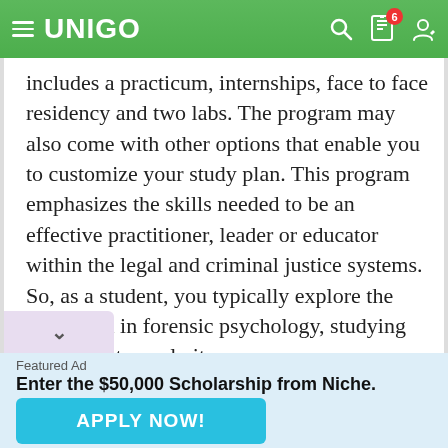[Figure (logo): Unigo website header with green background, hamburger menu, Unigo logo, search icon, notification bell with badge '6', and user icon]
includes a practicum, internships, face to face residency and two labs. The program may also come with other options that enable you to customize your study plan. This program emphasizes the skills needed to be an effective practitioner, leader or educator within the legal and criminal justice systems. So, as a student, you typically explore the tools used in forensic psychology, studying also, how to apply it.
Featured Ad
Enter the $50,000 Scholarship from Niche.
Last day to enter is August 31st
APPLY NOW!